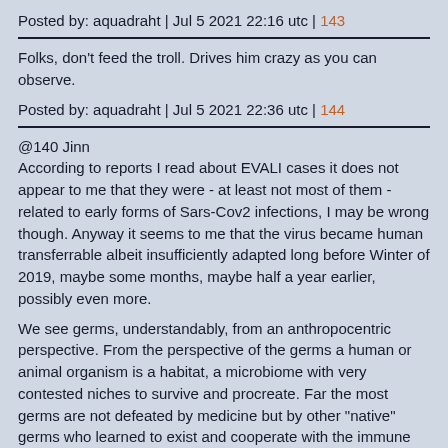Posted by: aquadraht | Jul 5 2021 22:16 utc | 143
Folks, don't feed the troll. Drives him crazy as you can observe.
Posted by: aquadraht | Jul 5 2021 22:36 utc | 144
@140 Jinn
According to reports I read about EVALI cases it does not appear to me that they were - at least not most of them - related to early forms of Sars-Cov2 infections, I may be wrong though. Anyway it seems to me that the virus became human transferrable albeit insufficiently adapted long before Winter of 2019, maybe some months, maybe half a year earlier, possibly even more.
We see germs, understandably, from an anthropocentric perspective. From the perspective of the germs a human or animal organism is a habitat, a microbiome with very contested niches to survive and procreate. Far the most germs are not defeated by medicine but by other "native" germs who learned to exist and cooperate with the immune system of the organism they inhabit. Germs devour their competitors where they can, they are lipids and proteins, just food. To adapt in such an environment, to overcome its defenses, is a complex struggle for adaptation. The Sars-